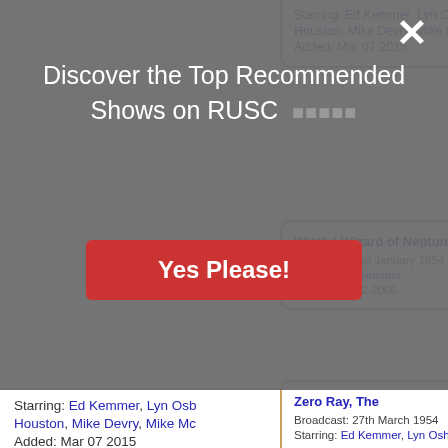Discover the Top Recommended Shows on RUSC ★★★★★
Yes Please!
Wistful Wizard of Neptune's
Broadcast: 2nd January 1954
Starring: Ed Kemmer
Added: Jan 02 2006
Zero Ray, The
Broadcast: 27th March 1954
Starring: Ed Kemmer, Lyn Osh...
Starring: Ed Kemmer, Lyn Osb, Houston, Mike Devry, Mike Mc...
Added: Mar 07 2015